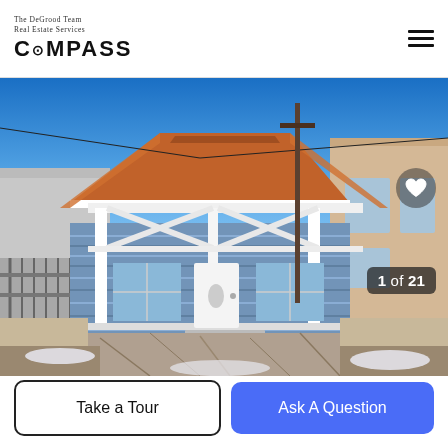The DeGrood Team Real Estate Services | COMPASS
[Figure (photo): Exterior photo of a blue bungalow-style house with white trim, orange/terracotta tile roof, covered front porch with white columns, stone/concrete driveway, flanked by neighboring buildings, clear blue sky. Photo counter shows 1 of 21.]
Take a Tour
Ask A Question